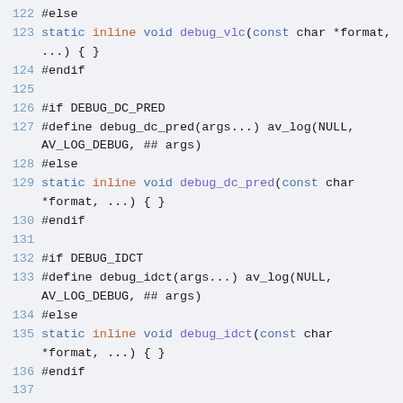Source code listing lines 122–141, C preprocessor and struct definitions for debug macros and Coeff typedef.